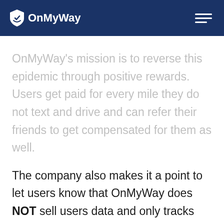OnMyWay
OnMyWay's mission is to reverse this epidemic through positive rewards. Users get paid for every mile they do not text and drive and can refer their friends to get compensated for them as well.
The company also makes it a point to let users know that OnMyWay does NOT sell users data and only tracks them for purposes of providing a better experience